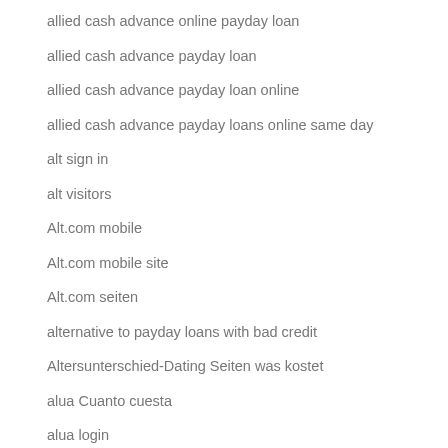allied cash advance online payday loan
allied cash advance payday loan
allied cash advance payday loan online
allied cash advance payday loans online same day
alt sign in
alt visitors
Alt.com mobile
Alt.com mobile site
Alt.com seiten
alternative to payday loans with bad credit
Altersunterschied-Dating Seiten was kostet
alua Cuanto cuesta
alua login
Alua review
alua reviews